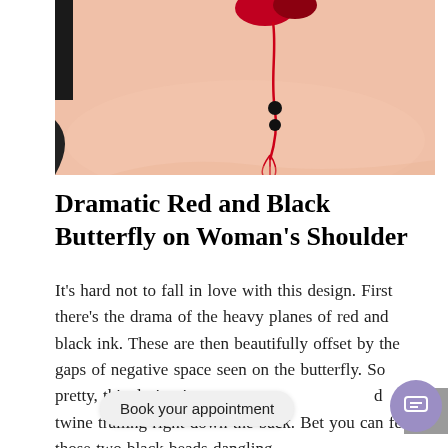[Figure (photo): Close-up photo of a woman's shoulder/chest area showing a red and black butterfly tattoo with red tassels and black beads on pale skin, with black clothing visible at edges.]
Dramatic Red and Black Butterfly on Woman's Shoulder
It's hard not to fall in love with this design. First there's the drama of the heavy planes of red and black ink. These are then beautifully offset by the gaps of negative space seen on the butterfly. So pretty, this design is w... d... twine trailing right down the back. Bet you can feel those two black beads dangling...